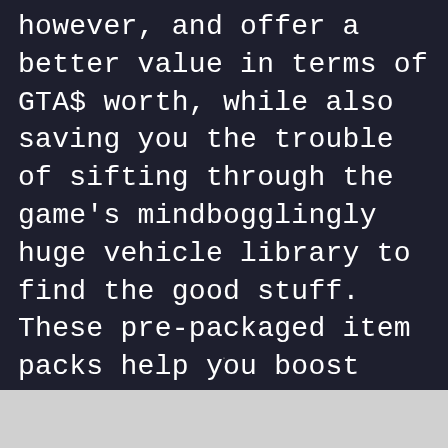however, and offer a better value in terms of GTA$ worth, while also saving you the trouble of sifting through the game's mindbogglingly huge vehicle library to find the good stuff. These pre-packaged item packs help you boost your GTA Online career in a quick and easy way, so long as you're willing to pay real money.